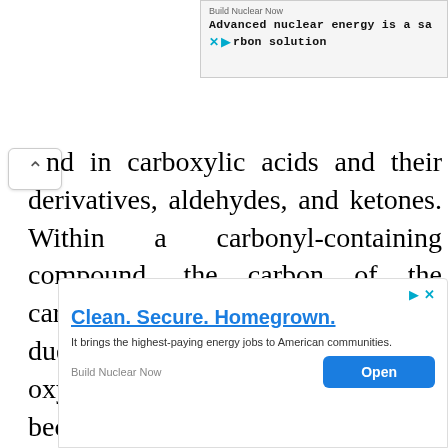[Figure (other): Top advertisement banner for Build Nuclear Now: 'Advanced nuclear energy is a safe carbon solution' with social media icons]
nd in carboxylic acids and their derivatives, aldehydes, and ketones. Within a carbonyl-containing compound, the carbon of the carbonyl acquires a positive polarity due to the electronegativity of the oxygen. Thus, the carbonyl carbon becomes electrophilic and can be a target for nucleophiles. Further, the α-hydrogens are much more acidic than in a regular C–H bond due to
[Figure (other): Bottom advertisement for Build Nuclear Now: 'Clean. Secure. Homegrown.' with Open button]